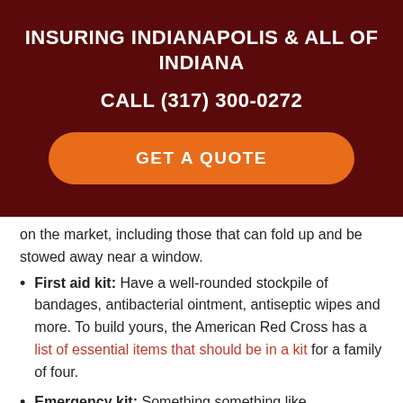INSURING INDIANAPOLIS & ALL OF INDIANA
CALL (317) 300-0272
GET A QUOTE
on the market, including those that can fold up and be stowed away near a window.
First aid kit: Have a well-rounded stockpile of bandages, antibacterial ointment, antiseptic wipes and more. To build yours, the American Red Cross has a list of essential items that should be in a kit for a family of four.
Emergency kit: Something something like...